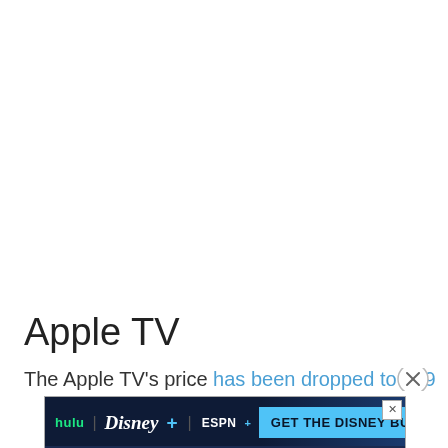Apple TV
The Apple TV's price has been dropped to $69 and a n…
[Figure (screenshot): Disney Bundle advertisement banner showing Hulu, Disney+, and ESPN+ logos with 'GET THE DISNEY BUNDLE' call-to-action button on dark blue background, with fine print about included services.]